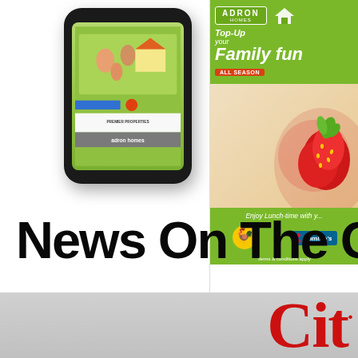[Figure (illustration): Smartphone mockup showing a green-themed advertisement or app screen, displayed at an angle with a dark phone frame]
[Figure (illustration): Adron Homes advertisement banner on the right side. Green background with text 'Top-Up your Family fun All Season'. Shows Chicken Republic and Domino's logos at the bottom with 'Enjoy Lunch-time' text.]
News on The Go!
[Figure (logo): Partial red text reading 'Cit' — likely a City news logo or brand name at the bottom of the page on a grey background]